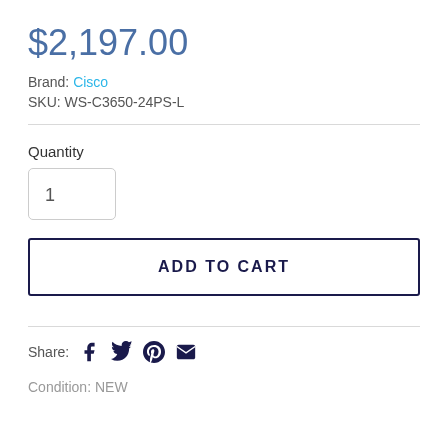$2,197.00
Brand: Cisco
SKU: WS-C3650-24PS-L
Quantity
1
ADD TO CART
Share:
Condition: NEW